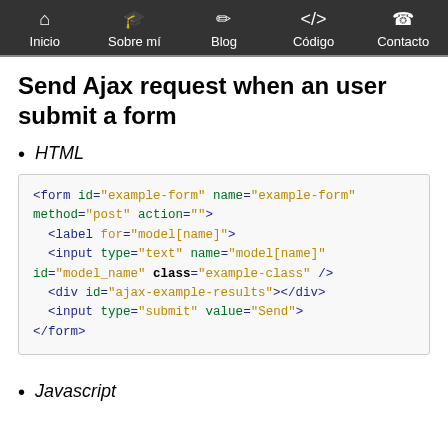Inicio | Sobre mí | Blog | Código | Contacto
Send Ajax request when an user submit a form
HTML
[Figure (screenshot): HTML code block showing a form with id='example-form', name='example-form', method='post', action=''. Contains label for='model[name]', input type='text' name='model[name]' id='model_name' class='example-class' />, div id='ajax-example-results'></div>, input type='submit' value='Send'>, and </form>.]
Javascript